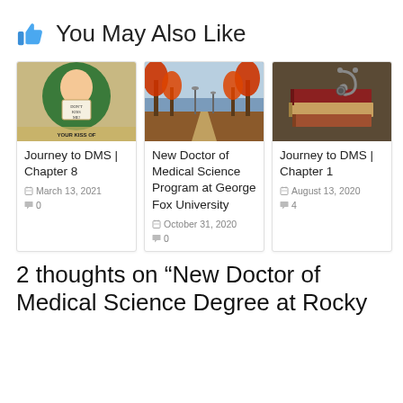👍 You May Also Like
[Figure (illustration): Card image: vintage illustration of baby with sign saying Don't Kiss Me / YOUR KISS OF]
Journey to DMS | Chapter 8
March 13, 2021
0
[Figure (photo): Card image: autumn park pathway lined with red trees]
New Doctor of Medical Science Program at George Fox University
October 31, 2020
0
[Figure (photo): Card image: stack of books with stethoscope on top]
Journey to DMS | Chapter 1
August 13, 2020
4
2 thoughts on “New Doctor of Medical Science Degree at Rocky